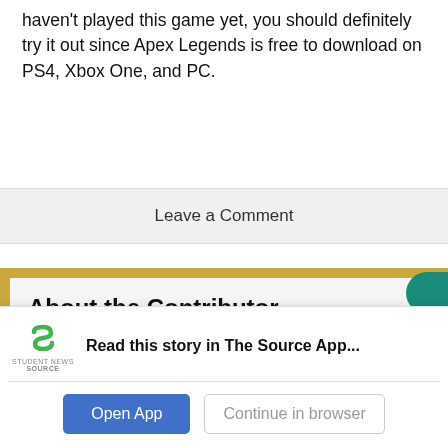haven't played this game yet, you should definitely try it out since Apex Legends is free to download on PS4, Xbox One, and PC.
Leave a Comment
About the Contributor
Anthoney Kong
[Figure (logo): Student News Source app logo with green S icon and SOURCE text]
Read this story in The Source App...
Open App
Continue in browser